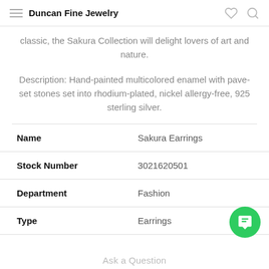Duncan Fine Jewelry
classic, the Sakura Collection will delight lovers of art and nature.
Description: Hand-painted multicolored enamel with pave-set stones set into rhodium-plated, nickel allergy-free, 925 sterling silver.
|  |  |
| --- | --- |
| Name | Sakura Earrings |
| Stock Number | 3021620501 |
| Department | Fashion |
| Type | Earrings |
Ask a Question